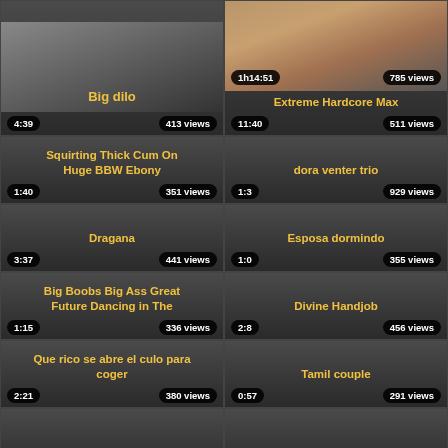[Figure (screenshot): Video thumbnail grid showing adult video titles with duration and view count badges]
Big dilo — 4:39 — 413 views
Extreme Hardcore Max — 1h14:51 — 785 views — 11:40 — 511 views
Squirting Thick Cum On Huge BBW Ebony — 1:40 — 351 views
dora venter trio — 1:3 — 929 views
Dragana — 3:37 — 441 views
Esposa dormindo — 1:0 — 355 views
Big Boobs Big Ass Great Future Dancing in The — 1:15 — 336 views
Divine Handjob — 2:8 — 456 views
Que rico se abre el culo para coger — 2:21 — 380 views
Tamil couple — 0:57 — 291 views
Asian rimjobs
Smoking Pawg